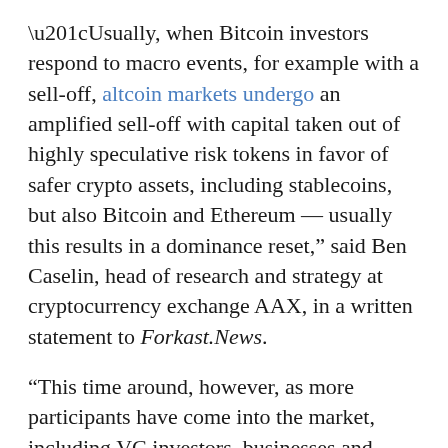“Usually, when Bitcoin investors respond to macro events, for example with a sell-off, altcoin markets undergo an amplified sell-off with capital taken out of highly speculative risk tokens in favor of safer crypto assets, including stablecoins, but also Bitcoin and Ethereum — usually this results in a dominance reset,” said Ben Caselin, head of research and strategy at cryptocurrency exchange AAX, in a written statement to Forkast.News.
“This time around, however, as more participants have come into the market, including VC investors, businesses and entire swathes of people that have come into the space through NFTs, a meme or a game token, market dynamics are changing.”